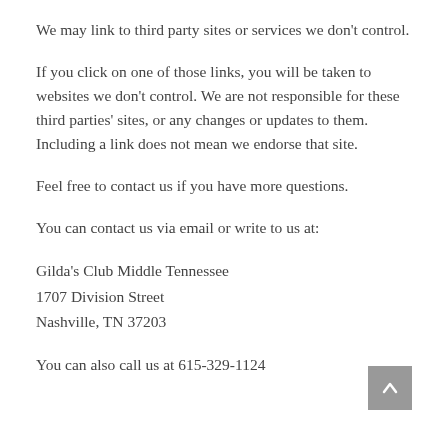We may link to third party sites or services we don't control.
If you click on one of those links, you will be taken to websites we don't control. We are not responsible for these third parties' sites, or any changes or updates to them. Including a link does not mean we endorse that site.
Feel free to contact us if you have more questions.
You can contact us via email or write to us at:
Gilda's Club Middle Tennessee
1707 Division Street
Nashville, TN 37203
You can also call us at 615-329-1124